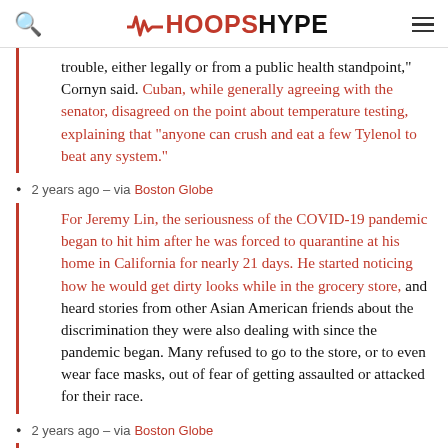HOOPSHYPE
trouble, either legally or from a public health standpoint," Cornyn said. Cuban, while generally agreeing with the senator, disagreed on the point about temperature testing, explaining that “anyone can crush and eat a few Tylenol to beat any system.”
2 years ago – via Boston Globe
For Jeremy Lin, the seriousness of the COVID-19 pandemic began to hit him after he was forced to quarantine at his home in California for nearly 21 days. He started noticing how he would get dirty looks while in the grocery store, and heard stories from other Asian American friends about the discrimination they were also dealing with since the pandemic began. Many refused to go to the store, or to even wear face masks, out of fear of getting assaulted or attacked for their race.
2 years ago – via Boston Globe
“I think…